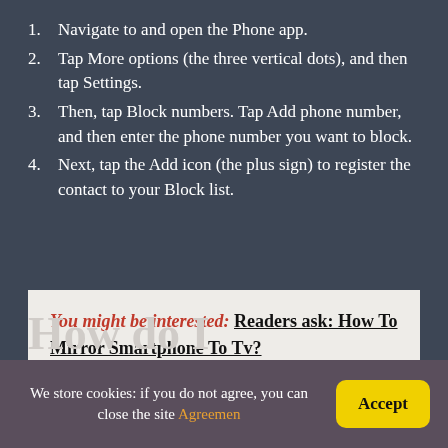Navigate to and open the Phone app.
Tap More options (the three vertical dots), and then tap Settings.
Then, tap Block numbers. Tap Add phone number, and then enter the phone number you want to block.
Next, tap the Add icon (the plus sign) to register the contact to your Block list.
You might be interested: Readers ask: How To Mirror Smartphone To Tv?
How do I
We store cookies: if you do not agree, you can close the site Agreement